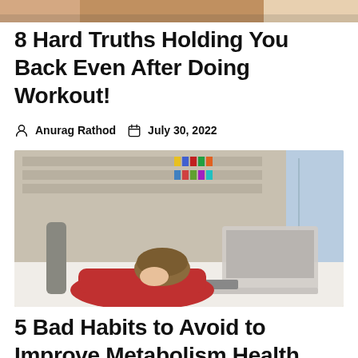[Figure (photo): Partial view of a fitness/workout scene, cropped at top of page]
8 Hard Truths Holding You Back Even After Doing Workout!
Anurag Rathod   July 30, 2022
[Figure (photo): Woman in red sweater slumped over a desk with laptop, appearing exhausted, office/library background with colorful binders]
5 Bad Habits to Avoid to Improve Metabolism Health